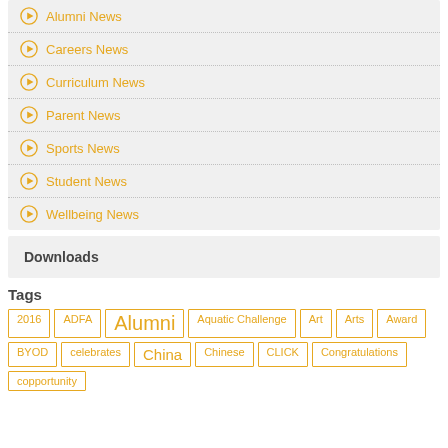Alumni News
Careers News
Curriculum News
Parent News
Sports News
Student News
Wellbeing News
Downloads
Tags
2016  ADFA  Alumni  Aquatic Challenge  Art  Arts  Award  BYOD  celebrates  China  Chinese  CLICK  Congratulations  copportunity